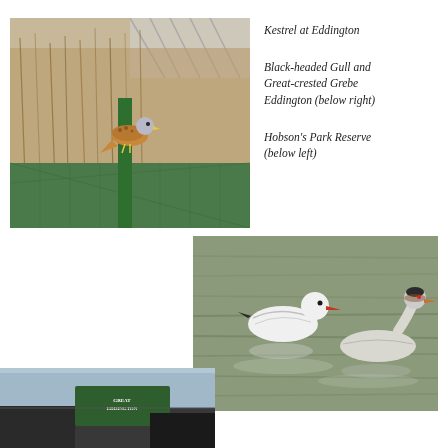[Figure (photo): A kestrel bird perched on a green metal fence post, with dry brown reeds and a greenhouse structure in the background.]
Kestrel at Eddington
Black-headed Gull and Great-crested Grebe Eddington (below right)
Hobson's Park Reserve (below left)
[Figure (photo): A Black-headed Gull and a Great-crested Grebe swimming on calm greenish water at Eddington.]
[Figure (photo): A sign reading 'Great Eddington' at Hobson's Park Reserve, with a dark vehicle partially visible.]